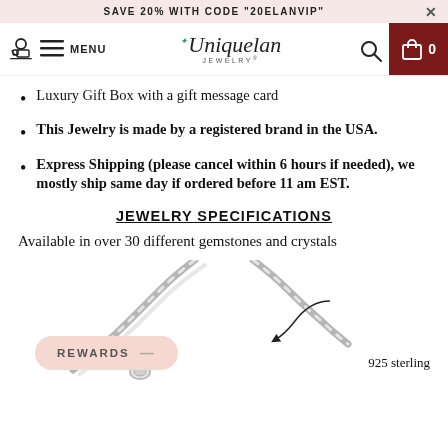SAVE 20% WITH CODE "20ELANVIP"
[Figure (screenshot): Uniquelan Jewelry navigation bar with menu icon, logo, search icon, and shopping cart showing 0 items]
Luxury Gift Box with a gift message card
This Jewelry is made by a registered brand in the USA.
Express Shipping (please cancel within 6 hours if needed), we mostly ship same day if ordered before 11 am EST.
JEWELRY SPECIFICATIONS
Available in over 30 different gemstones and crystals
[Figure (photo): Close-up photo of a silver necklace chain with a pendant, with an arrow pointing to the chain and '925 sterling' label visible at bottom right]
REWARDS